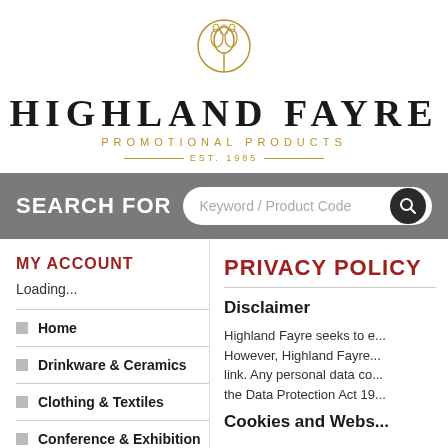[Figure (logo): Highland Fayre Promotional Products logo with thistle emblem, gold text, and EST. 1985]
SEARCH FOR  Keyword / Product Code
MY ACCOUNT
Loading...
Home
Drinkware & Ceramics
Clothing & Textiles
Conference & Exhibition
PRIVACY POLICY
Disclaimer
Highland Fayre seeks to e... However, Highland Fayre... link. Any personal data co... the Data Protection Act 19...
Cookies and Webs...